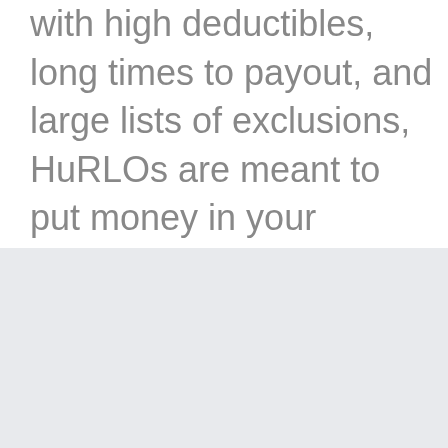with high deductibles, long times to payout, and large lists of exclusions, HuRLOs are meant to put money in your pocket, right away.
Simple, safe, and effective.